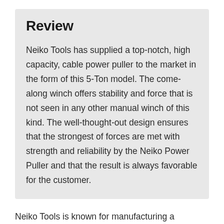Review
Neiko Tools has supplied a top-notch, high capacity, cable power puller to the market in the form of this 5-Ton model. The come-along winch offers stability and force that is not seen in any other manual winch of this kind. The well-thought-out design ensures that the strongest of forces are met with strength and reliability by the Neiko Power Puller and that the result is always favorable for the customer.
Neiko Tools is known for manufacturing a